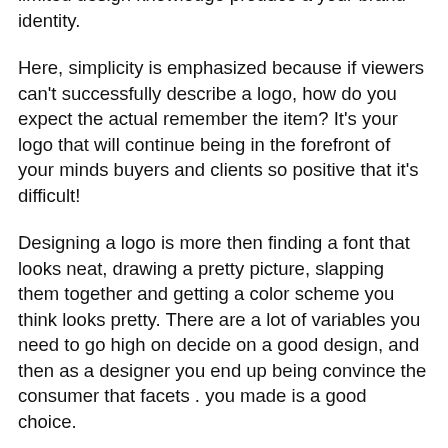limited design knowledge produce a your brand identity.
Here, simplicity is emphasized because if viewers can't successfully describe a logo, how do you expect the actual remember the item? It's your logo that will continue being in the forefront of your minds buyers and clients so positive that it's difficult!
Designing a logo is more then finding a font that looks neat, drawing a pretty picture, slapping them together and getting a color scheme you think looks pretty. There are a lot of variables you need to go high on decide on a good design, and then as a designer you end up being convince the consumer that facets . you made is a good choice.
Next nicely be 다음 다음 to research logo design companies or designers which will deliver an avowed logo design that adheres to these rules, in the very least, and remain within